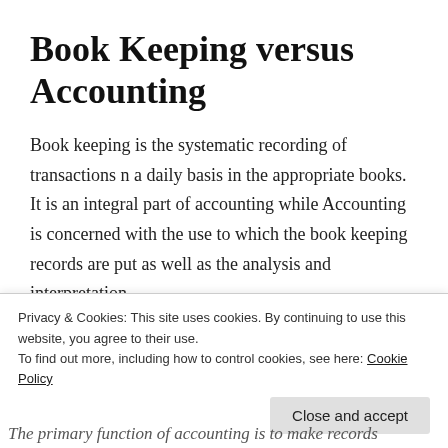Book Keeping versus Accounting
Book keeping is the systematic recording of transactions n a daily basis in the appropriate books. It is an integral part of accounting while Accounting is concerned with the use to which the book keeping records are put as well as the analysis and interpretation.
Privacy & Cookies: This site uses cookies. By continuing to use this website, you agree to their use.
To find out more, including how to control cookies, see here: Cookie Policy
Close and accept
The primary function of accounting is to make records